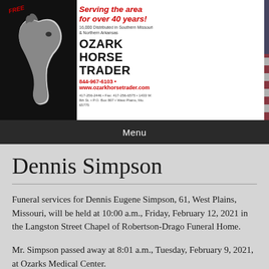[Figure (logo): Ozark Horse Trader newspaper header banner with horse logo on left, red italic text 'Serving the area for over 40 years!', distribution info, large bold 'OZARK HORSE TRADER' title, phone 844-967-6103, website www.ozarkhorsetrader.com, address details, and people holding newspapers on right with American flag background]
Menu
Dennis Simpson
Funeral services for Dennis Eugene Simpson, 61, West Plains, Missouri, will be held at 10:00 a.m., Friday, February 12, 2021 in the Langston Street Chapel of Robertson-Drago Funeral Home.
Mr. Simpson passed away at 8:01 a.m., Tuesday, February 9, 2021, at Ozarks Medical Center.